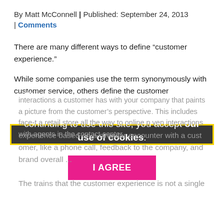By Matt McConnell | Published: September 24, 2013 | Comments
There are many different ways to define “customer experience.”
While some companies use the term synonymously with customer service, others define the customer experience based on a singular encounter with a customer, like a phone call, feedback to the company, and brand overall ...
This site uses cookies to provide you with the best user experience possible. By continuing to use this site, you accept our use of cookies.
I AGREE